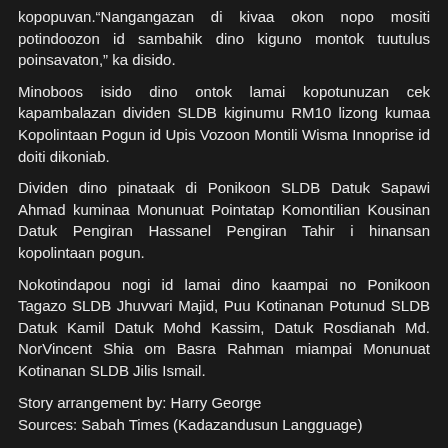kopopuvan.“Nangangazan di kivaa okon nopo mositi potindoozon id sambahik dino kiguno montok tuutulus poinsavaton,” ka disido.
Minoboos isido dino ontok lamai kopotunuzan cek kapambalazan dividen SLDB kiginumu RM10 lizong kumaa Kopolintaan Pogun id Upis Vozoon Montili Wisma Innoprise id doiti dikoniab.
Dividen dino pinataak di Ponikoon SLDB Datuk Sapawi Ahmad kuminaa Monunuat Pointatap Komontilian Kousinan Datuk Pengiran Hassanel Pengiran Tahir i hinansan kopolintaan pogun.
Nokotindapou nogi id lamai dino kaampai no Ponikoon Tagazo SLDB Jhuvvari Majid, Puu Kotinanan Potunud SLDB Datuk Kamil Datuk Mohd Kassim, Datuk Rosdianah Md. NorVincent Shia om Basra Rahman miampai Monunuat Kotinanan SLDB Jilis Ismail.
Story arrangement by: Harry George
Sources: Sabah Times (Kadazandusun Langguage)